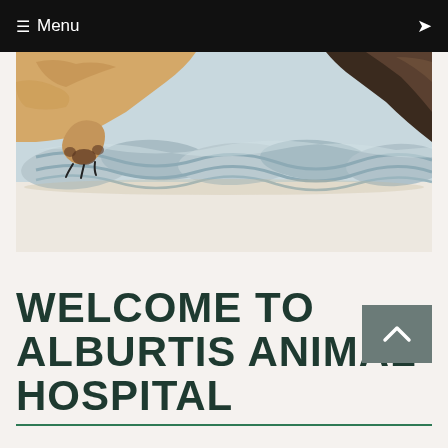≡ Menu
[Figure (photo): Close-up photo of a dog's paw resting on a large braided grey rope/blanket on a light wooden floor. The dog has golden/tan fur and dark claws visible.]
WELCOME TO ALBURTIS ANIMAL HOSPITAL